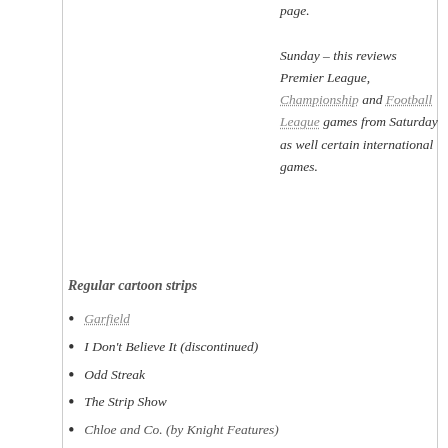Sunday – this reviews Premier League, Championship and Football League games from Saturday as well certain international games.
Regular cartoon strips
Garfield
I Don't Believe It (discontinued)
Odd Streak
The Strip Show
Chloe and Co. (by Knight Features)